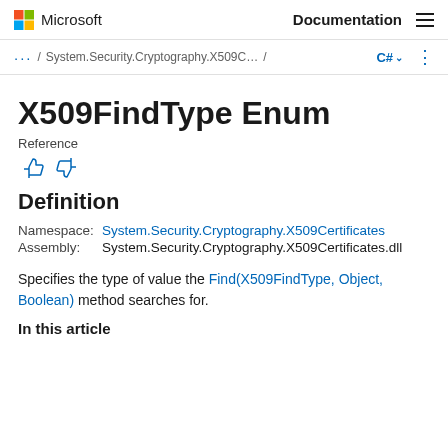Microsoft Documentation
... / System.Security.Cryptography.X509C... / C#
X509FindType Enum
Reference
Definition
Namespace:  System.Security.Cryptography.X509Certificates
Assembly:  System.Security.Cryptography.X509Certificates.dll
Specifies the type of value the Find(X509FindType, Object, Boolean) method searches for.
In this article